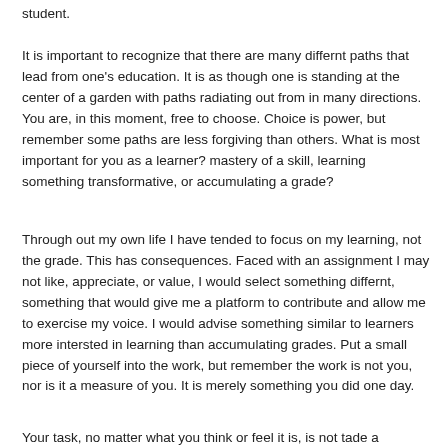student.
It is important to recognize that there are many differnt paths that lead from one's education. It is as though one is standing at the center of a garden with paths radiating out from in many directions. You are, in this moment, free to choose. Choice is power, but remember some paths are less forgiving than others. What is most important for you as a learner? mastery of a skill, learning something transformative, or accumulating a grade?
Through out my own life I have tended to focus on my learning, not the grade. This has consequences. Faced with an assignment I may not like, appreciate, or value, I would select something differnt, something that would give me a platform to contribute and allow me to exercise my voice. I would advise something similar to learners more intersted in learning than accumulating grades. Put a small piece of yourself into the work, but remember the work is not you, nor is it a measure of you. It is merely something you did one day.
Your task, no matter what you think or feel it is, is not tade a